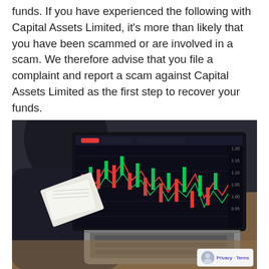funds. If you have experienced the following with Capital Assets Limited, it's more than likely that you have been scammed or are involved in a scam. We therefore advise that you file a complaint and report a scam against Capital Assets Limited as the first step to recover your funds.
[Figure (photo): A person wearing a dark suit jacket is typing on a laptop keyboard. The laptop screen displays a financial trading chart with candlestick patterns in green and red on a dark background. The person is also holding printed papers. The setting appears to be a desk environment.]